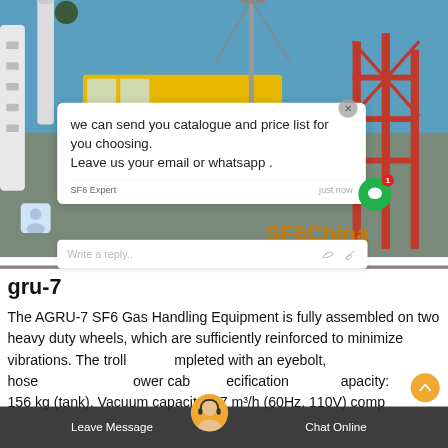[Figure (photo): Industrial electrical substation with yellow truck, cranes, insulators, and red metal structure against a blue sky. SF6China watermark visible.]
we can send you catalogue and price list for you choosing.
Leave us your email or whatsapp .
SF6 Expert    just now
Write a reply..
gru-7
The AGRU-7 SF6 Gas Handling Equipment is fully assembled on two heavy duty wheels, which are sufficiently reinforced to minimize vibrations. The trolley is completed with an eyebolt, hose with bayonet power cable. Specifications: SF6 capacity: 156 kg (tank). Vacuum capacity: 17 m³/h (60Hz, 110V) compr
Leave Message
Chat Online